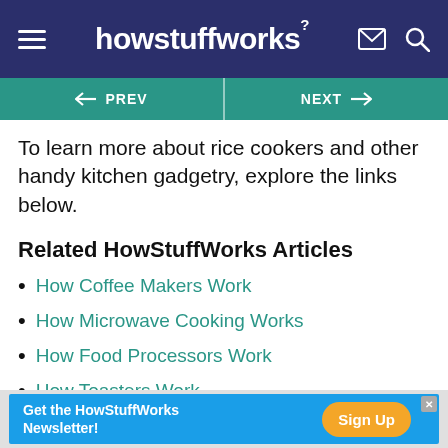howstuffworks
To learn more about rice cookers and other handy kitchen gadgetry, explore the links below.
Related HowStuffWorks Articles
How Coffee Makers Work
How Microwave Cooking Works
How Food Processors Work
How Toasters Work
How Refrigerators Work
Get the HowStuffWorks Newsletter! Sign Up